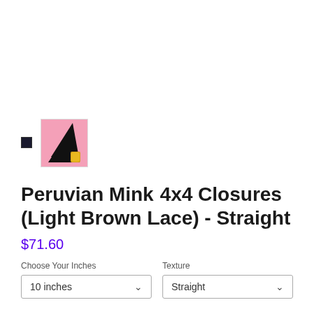[Figure (photo): Thumbnail image of a black triangular hair closure piece on a pink background with a small yellow container. A small black square icon (placeholder/checkbox) is also visible to the left.]
Peruvian Mink 4x4 Closures (Light Brown Lace) - Straight
$71.60
Choose Your Inches
Texture
10 inches
Straight